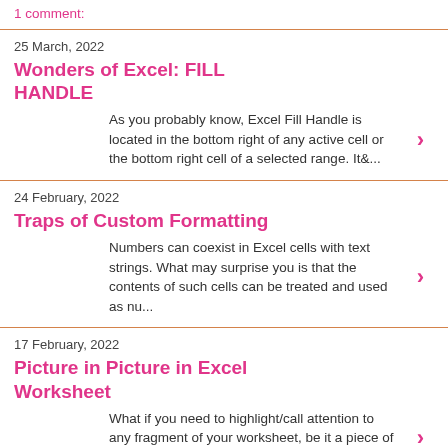1 comment:
25 March, 2022
Wonders of Excel: FILL HANDLE
As you probably know, Excel Fill Handle is located in the bottom right of any active cell or the bottom right cell of a selected range. It&...
24 February, 2022
Traps of Custom Formatting
Numbers can coexist in Excel cells with text strings. What may surprise you is that the contents of such cells can be treated and used as nu...
17 February, 2022
Picture in Picture in Excel Worksheet
What if you need to highlight/call attention to any fragment of your worksheet, be it a piece of data